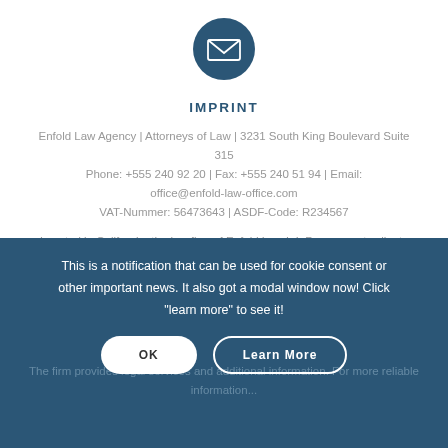[Figure (illustration): Dark blue circle with a white envelope/mail icon inside]
IMPRINT
Enfold Law Agency | Attorneys of Law | 3231 South King Boulevard Suite 315
Phone: +555 240 92 20 | Fax: +555 240 51 94 | Email: office@enfold-law-office.com
VAT-Nummer: 56473643 | ASDF-Code: R234567
Located in California, the law firm of Enfold Law L.L.P. represents clients throughout California, including, but not limited to the cities of Los Angeles, Santa Ana, Yorba Linda, San Juan Capistrano, Mission Viejo, Newport Beach, Huntington Beach, Tustin, Irvine, Costa Mesa, Fullerton, Brea, Corona, Chino, Temecula, Lake
This is a notification that can be used for cookie consent or other important news. It also got a modal window now! Click "learn more" to see it!
The firm provides legal services and additional information. For more reliable information...